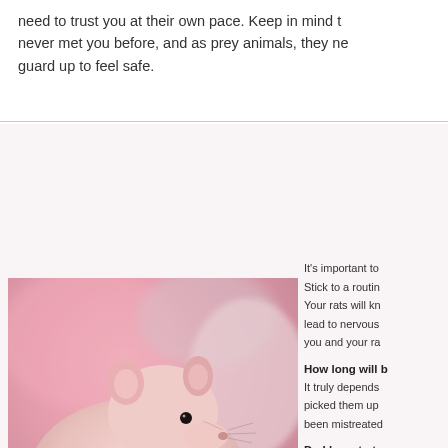need to trust you at their own pace. Keep in mind that they have never met you before, and as prey animals, they need to keep their guard up to feel safe.
It's important to Stick to a routine. Your rats will kn lead to nervous you and your ra
How long will b
It truly depends picked them up been mistreated
Do I have to tru
The answer is y dedicate some t minutes of your routine. If you b
What if my rat h
It's uncommon
[Figure (photo): Close-up photo of hairless/pink rats cuddling together against a pink blurred background]